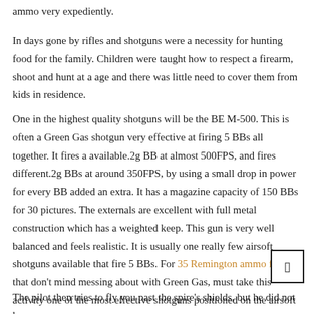ammo very expediently.
In days gone by rifles and shotguns were a necessity for hunting food for the family. Children were taught how to respect a firearm, shoot and hunt at a age and there was little need to cover them from kids in residence.
One in the highest quality shotguns will be the BE M-500. This is often a Green Gas shotgun very effective at firing 5 BBs all together. It fires a available.2g BB at almost 500FPS, and fires different.2g BBs at around 350FPS, by using a small drop in power for every BB added an extra. It has a magazine capacity of 150 BBs for 30 pictures. The externals are excellent with full metal construction which has a weighted keep. This gun is very well balanced and feels realistic. It is usually one really few airsoft shotguns available that fire 5 BBs. For 35 Remington ammo for sale that don't mind messing about with Green Gas, must take this activity one of the most effective shotguns positioned on the airsoft market.
The pilot then tries to fly you past the spire's shields, but he did not know